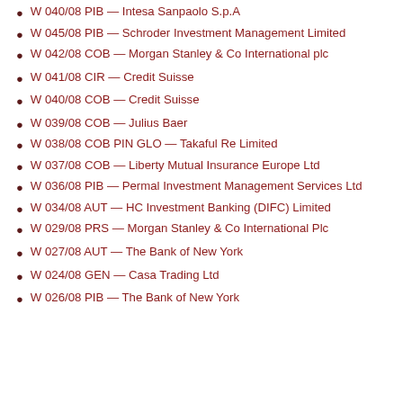W 040/08 PIB — Intesa Sanpaolo S.p.A
W 045/08 PIB — Schroder Investment Management Limited
W 042/08 COB — Morgan Stanley & Co International plc
W 041/08 CIR — Credit Suisse
W 040/08 COB — Credit Suisse
W 039/08 COB — Julius Baer
W 038/08 COB PIN GLO — Takaful Re Limited
W 037/08 COB — Liberty Mutual Insurance Europe Ltd
W 036/08 PIB — Permal Investment Management Services Ltd
W 034/08 AUT — HC Investment Banking (DIFC) Limited
W 029/08 PRS — Morgan Stanley & Co International Plc
W 027/08 AUT — The Bank of New York
W 024/08 GEN — Casa Trading Ltd
W 026/08 PIB — The Bank of New York